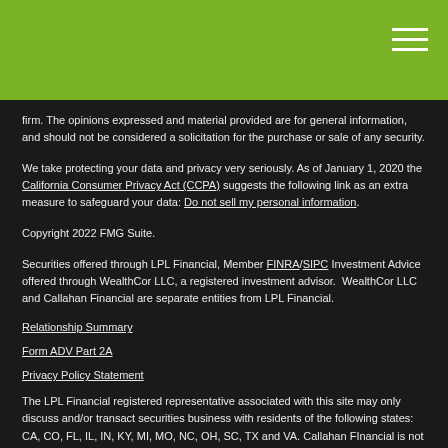firm. The opinions expressed and material provided are for general information, and should not be considered a solicitation for the purchase or sale of any security.
We take protecting your data and privacy very seriously. As of January 1, 2020 the California Consumer Privacy Act (CCPA) suggests the following link as an extra measure to safeguard your data: Do not sell my personal information.
Copyright 2022 FMG Suite.
Securities offered through LPL Financial, Member FINRA/SIPC Investment Advice offered through WealthCor LLC, a registered investment advisor.  WealthCor LLC and Callahan Financial are separate entities from LPL Financial.
Relationship Summary
Form ADV Part 2A
Privacy Policy Statement
The LPL Financial registered representative associated with this site may only discuss and/or transact securities business with residents of the following states: CA, CO, FL, IL, IN, KY, MI, MO, NC, OH, SC, TX and VA. Callahan FInancial is not affiliated with LPL Financial.